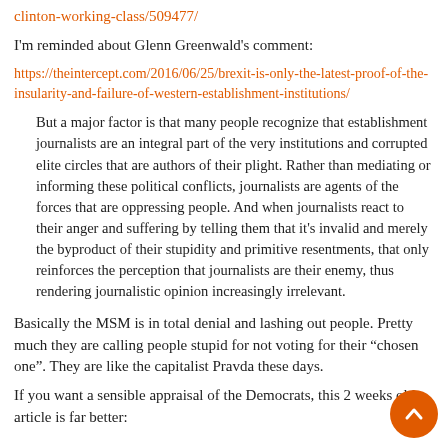clinton-working-class/509477/
I'm reminded about Glenn Greenwald's comment:
https://theintercept.com/2016/06/25/brexit-is-only-the-latest-proof-of-the-insularity-and-failure-of-western-establishment-institutions/
But a major factor is that many people recognize that establishment journalists are an integral part of the very institutions and corrupted elite circles that are authors of their plight. Rather than mediating or informing these political conflicts, journalists are agents of the forces that are oppressing people. And when journalists react to their anger and suffering by telling them that it's invalid and merely the byproduct of their stupidity and primitive resentments, that only reinforces the perception that journalists are their enemy, thus rendering journalistic opinion increasingly irrelevant.
Basically the MSM is in total denial and lashing out people. Pretty much they are calling people stupid for not voting for their “chosen one”. They are like the capitalist Pravda these days.
If you want a sensible appraisal of the Democrats, this 2 weeks old article is far better: